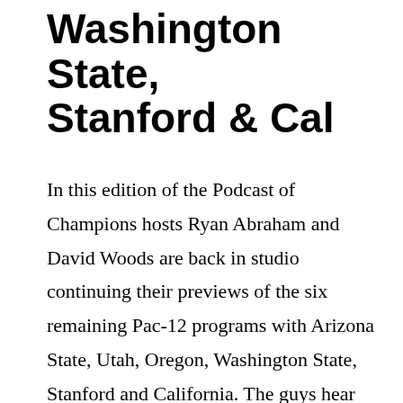Washington State, Stanford & Cal
In this edition of the Podcast of Champions hosts Ryan Abraham and David Woods are back in studio continuing their previews of the six remaining Pac-12 programs with Arizona State, Utah, Oregon, Washington State, Stanford and California. The guys hear from experts from each program’s 247Sports website talking about the strengths and